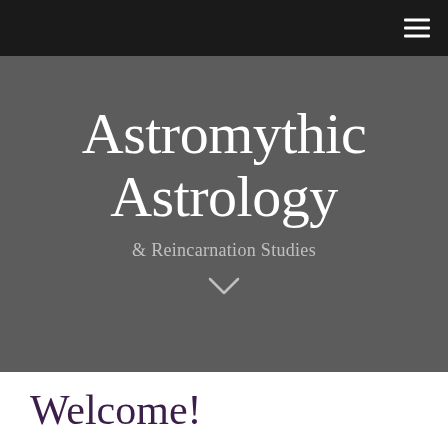[Figure (screenshot): Dark navigation bar with hamburger menu icon (three horizontal lines) in top-right corner on black background]
Astromythic Astrology & Reincarnation Studies
Welcome!